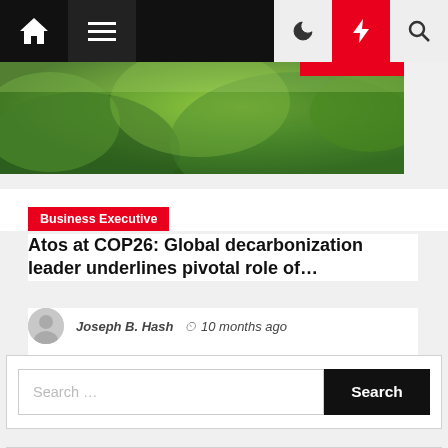Navigation bar with home, menu, moon, bolt, and search icons
[Figure (photo): Green forest/nature hero image with red accent bar in top right]
Business Executive
Atos at COP26: Global decarbonization leader underlines pivotal role of…
Joseph B. Hash  🕐 10 months ago
Search …